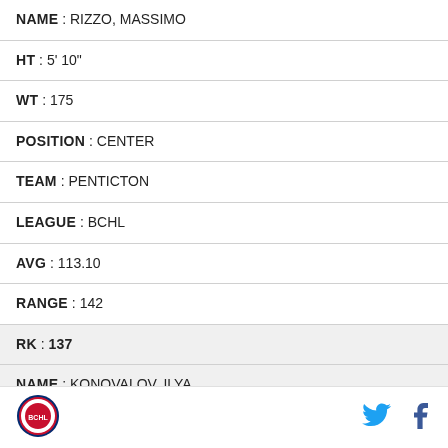| NAME : RIZZO, MASSIMO |
| HT : 5' 10" |
| WT : 175 |
| POSITION : CENTER |
| TEAM : PENTICTON |
| LEAGUE : BCHL |
| AVG : 113.10 |
| RANGE : 142 |
| RK : 137 |
| NAME : KONOVALOV, ILYA |
| HT : 6' 0" |
[Figure (logo): Round sports logo with hockey/sports imagery in red and blue]
[Figure (logo): Twitter bird icon in cyan/blue]
[Figure (logo): Facebook f icon in dark blue]